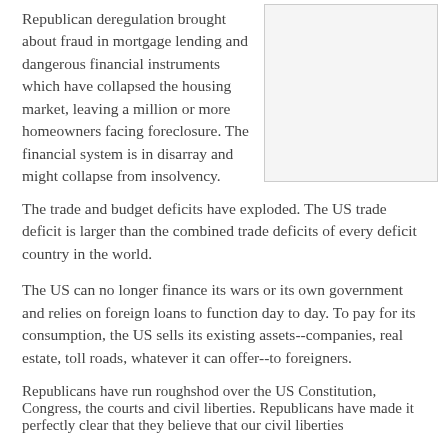Republican deregulation brought about fraud in mortgage lending and dangerous financial instruments which have collapsed the housing market, leaving a million or more homeowners facing foreclosure. The financial system is in disarray and might collapse from insolvency.
[Figure (other): Blank or lightly shaded rectangular box in the upper right column area]
The trade and budget deficits have exploded. The US trade deficit is larger than the combined trade deficits of every deficit country in the world.
The US can no longer finance its wars or its own government and relies on foreign loans to function day to day. To pay for its consumption, the US sells its existing assets--companies, real estate, toll roads, whatever it can offer--to foreigners.
Republicans have run roughshod over the US Constitution, Congress, the courts and civil liberties. Republicans have made it perfectly clear that they believe that our civil liberties are inconvenient obstacles to their agenda. As Republicans...